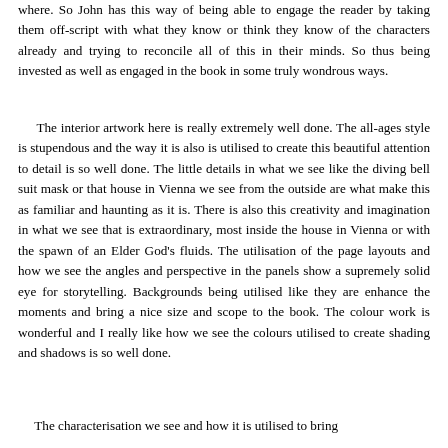where. So John has this way of being able to engage the reader by taking them off-script with what they know or think they know of the characters already and trying to reconcile all of this in their minds. So thus being invested as well as engaged in the book in some truly wondrous ways.
The interior artwork here is really extremely well done. The all-ages style is stupendous and the way it is also is utilised to create this beautiful attention to detail is so well done. The little details in what we see like the diving bell suit mask or that house in Vienna we see from the outside are what make this as familiar and haunting as it is. There is also this creativity and imagination in what we see that is extraordinary, most inside the house in Vienna or with the spawn of an Elder God's fluids. The utilisation of the page layouts and how we see the angles and perspective in the panels show a supremely solid eye for storytelling. Backgrounds being utilised like they are enhance the moments and bring a nice size and scope to the book. The colour work is wonderful and I really like how we see the colours utilised to create shading and shadows is so well done.
The characterisation we see and how it is utilised to bring